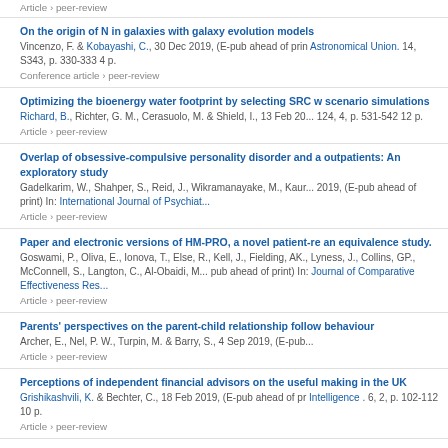Article › peer-review
On the origin of N in galaxies with galaxy evolution models
Vincenzo, F. & Kobayashi, C., 30 Dec 2019, (E-pub ahead of print) In: Astronomical Union. 14, S343, p. 330-333 4 p.
Conference article › peer-review
Optimizing the bioenergy water footprint by selecting SRC with scenario simulations
Richard, B., Richter, G. M., Cerasuolo, M. & Shield, I., 13 Feb 20... 124, 4, p. 531-542 12 p.
Article › peer-review
Overlap of obsessive-compulsive personality disorder and a outpatients: An exploratory study
Gadelkarim, W., Shahper, S., Reid, J., Wikramanayake, M., Kaur... 2019, (E-pub ahead of print) In: International Journal of Psychiat...
Article › peer-review
Paper and electronic versions of HM-PRO, a novel patient-re an equivalence study.
Goswami, P., Oliva, E., Ionova, T., Else, R., Kell, J., Fielding, AK., Lyness, J., Collins, GP., McConnell, S., Langton, C., Al-Obaidi, M... pub ahead of print) In: Journal of Comparative Effectiveness Res...
Article › peer-review
Parents' perspectives on the parent-child relationship follow behaviour
Archer, E., Nel, P. W., Turpin, M. & Barry, S., 4 Sep 2019, (E-pub...
Article › peer-review
Perceptions of independent financial advisors on the useful making in the UK
Grishikashvili, K. & Bechter, C., 18 Feb 2019, (E-pub ahead of pr Intelligence . 6, 2, p. 102-112 10 p.
Article › peer-review